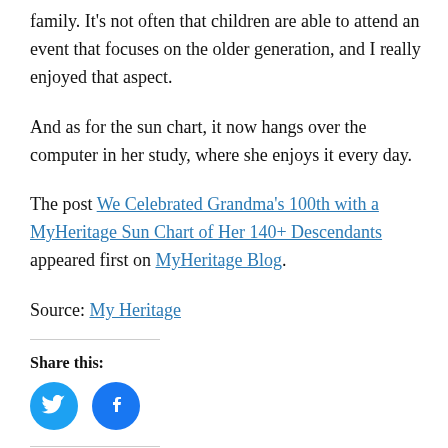family. It’s not often that children are able to attend an event that focuses on the older generation, and I really enjoyed that aspect.
And as for the sun chart, it now hangs over the computer in her study, where she enjoys it every day.
The post We Celebrated Grandma’s 100th with a MyHeritage Sun Chart of Her 140+ Descendants appeared first on MyHeritage Blog.
Source: My Heritage
Share this:
[Figure (other): Twitter and Facebook share icon buttons (circular blue icons)]
Related